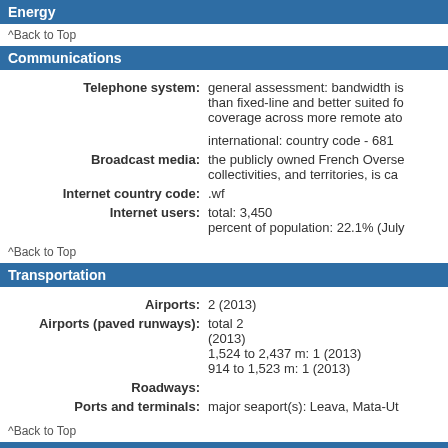Energy
^Back to Top
Communications
Telephone system: general assessment: bandwidth is than fixed-line and better suited fo coverage across more remote ato
international: country code - 681
Broadcast media: the publicly owned French Overse collectivities, and territories, is ca
Internet country code: .wf
Internet users: total: 3,450 percent of population: 22.1% (July
^Back to Top
Transportation
Airports: 2 (2013)
Airports (paved runways): total 2 (2013) 1,524 to 2,437 m: 1 (2013) 914 to 1,523 m: 1 (2013)
Roadways:
Ports and terminals: major seaport(s): Leava, Mata-Ut
^Back to Top
Military